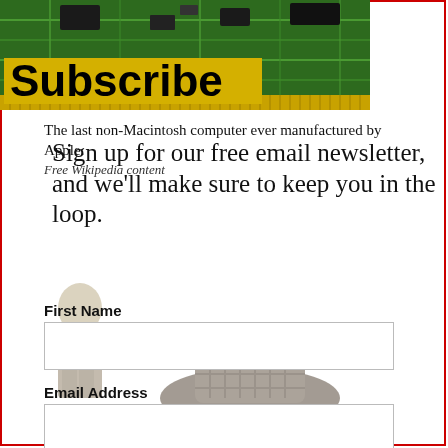[Figure (photo): Circuit board photo with green PCB and electronic components, overlaid with the word 'Subscribe' in large bold text on a yellow/gold background strip]
The last non-Macintosh computer ever manufactured by Apple.
Free Wikipedia content
Sign up for our free email newsletter, and we'll make sure to keep you in the loop.
First Name
Email Address
I agree to the privacy policy.